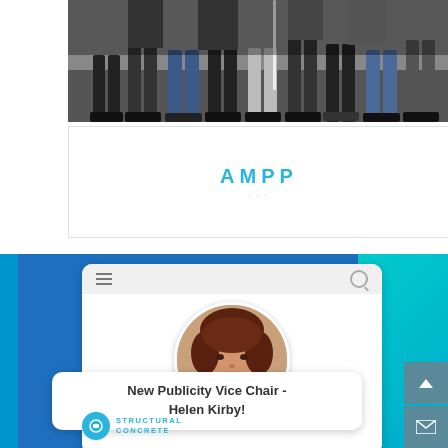[Figure (photo): Group photo showing people's legs and shoes on a floor, cropped at top]
AMPP
[Figure (screenshot): Mobile website screenshot showing a profile photo of Helen Kirby (woman with reddish-brown hair in dark red top) in a circle, with caption 'New Publicity Vice Chair - Helen Kirby!' and Structural Concrete logo at bottom]
New Publicity Vice Chair - Helen Kirby!